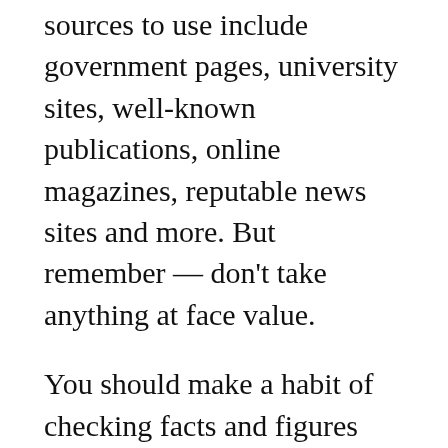As a general rule of thumb, good sources to use include government pages, university sites, well-known publications, online magazines, reputable news sites and more. But remember — don't take anything at face value.
You should make a habit of checking facts and figures using multiple sources to ensure that everything is up-to-date and correct before publishing your article.